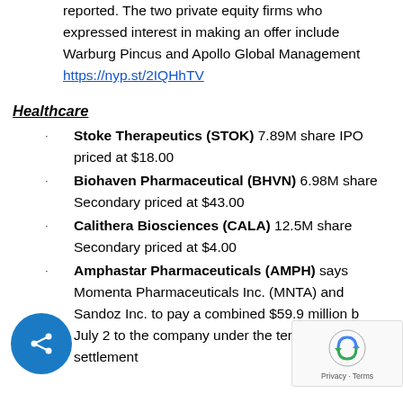reported. The two private equity firms who expressed interest in making an offer include Warburg Pincus and Apollo Global Management https://nyp.st/2IQHhTV
Healthcare
Stoke Therapeutics (STOK) 7.89M share IPO priced at $18.00
Biohaven Pharmaceutical (BHVN) 6.98M share Secondary priced at $43.00
Calithera Biosciences (CALA) 12.5M share Secondary priced at $4.00
Amphastar Pharmaceuticals (AMPH) says Momenta Pharmaceuticals Inc. (MNTA) and Sandoz Inc. to pay a combined $59.9 million by July 2 to the company under the terms of the settlement